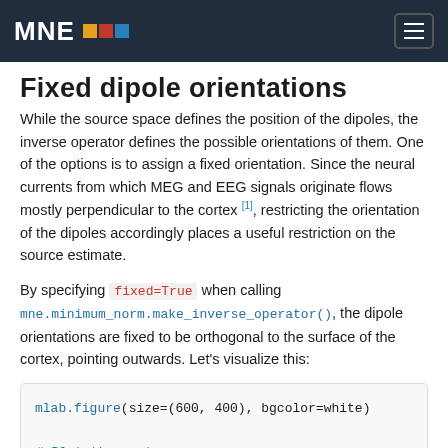MNE
Fixed dipole orientations
While the source space defines the position of the dipoles, the inverse operator defines the possible orientations of them. One of the options is to assign a fixed orientation. Since the neural currents from which MEG and EEG signals originate flows mostly perpendicular to the cortex [1], restricting the orientation of the dipoles accordingly places a useful restriction on the source estimate.
By specifying fixed=True when calling mne.minimum_norm.make_inverse_operator(), the dipole orientations are fixed to be orthogonal to the surface of the cortex, pointing outwards. Let’s visualize this:
mlab.figure(size=(600, 400), bgcolor=white)

# Plot the cortex
mlab.triangular_mesh(verts[:, 0], verts[:, 1], ve